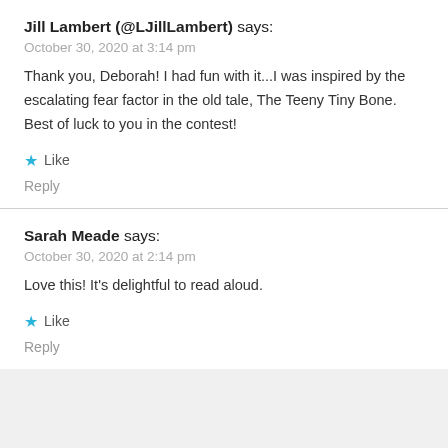Jill Lambert (@LJillLambert) says:
October 30, 2020 at 3:14 pm
Thank you, Deborah! I had fun with it...I was inspired by the escalating fear factor in the old tale, The Teeny Tiny Bone. Best of luck to you in the contest!
Like
Reply
Sarah Meade says:
October 30, 2020 at 2:14 pm
Love this! It's delightful to read aloud.
Like
Reply